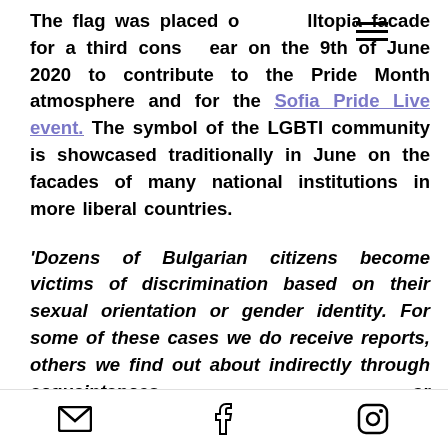The flag was placed on the Mulltopia facade for a third consecutive year on the 9th of June 2020 to contribute to the Pride Month atmosphere and for the Sofia Pride Live event. The symbol of the LGBTI community is showcased traditionally in June on the facades of many national institutions in more liberal countries.
'Dozens of Bulgarian citizens become victims of discrimination based on their sexual orientation or gender identity. For some of these cases we do receive reports, others we find out about indirectly through acquaintances or friends, there are likely dozens more
Email | Facebook | Instagram icons